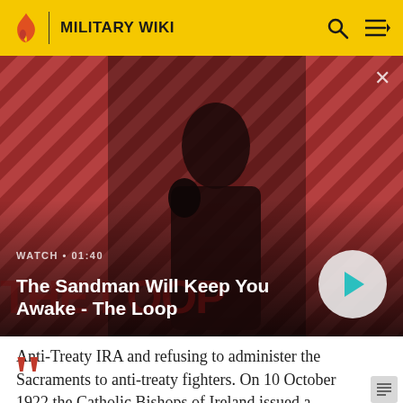MILITARY WIKI
[Figure (screenshot): Video thumbnail for 'The Sandman Will Keep You Awake - The Loop' showing a dark figure with a raven on shoulder against diagonal striped red/maroon background. Watch duration 01:40 shown. Play button on right.]
WATCH • 01:40
The Sandman Will Keep You Awake - The Loop
Anti-Treaty IRA and refusing to administer the Sacraments to anti-treaty fighters. On 10 October 1922 the Catholic Bishops of Ireland issued a formal statement describing the anti-treaty campaign as,
““